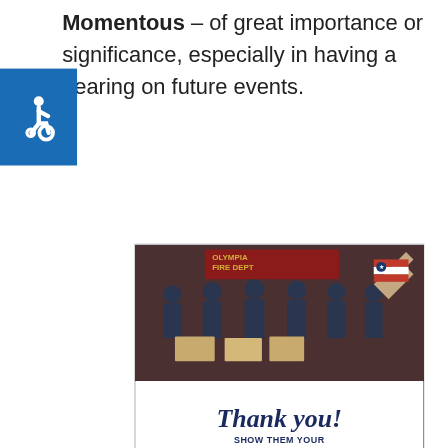Momentous – of great importance or significance, especially in having a bearing on future events.
[Figure (photo): Accessibility wheelchair icon on blue background, partially overlapping the text]
[Figure (photo): Advertisement showing firefighters from Olympia Fire Department posing with boxes, with 'Thank you! SHOW THEM YOUR SUPPORT OPERATION GRATITUDE' text below]
[Figure (photo): Bottom banner advertisement for Operation Gratitude showing 'Thank you' text with pencil graphic and group photo of healthcare workers, on dark background]
1
WHAT'S NEXT → Why Do I Feel Sleepy Arou...